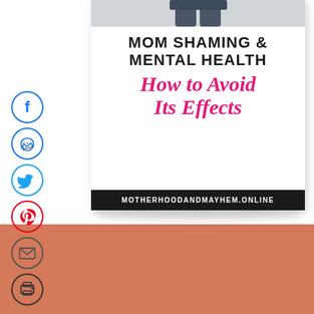[Figure (illustration): Social media sharing sidebar with circular icons: Facebook (blue), Messenger (blue), Twitter (blue), Pinterest (red), Email (gray), Print (dark gray)]
[Figure (infographic): Blog post featured image card with photo of person in jeans at top, black bold text 'MOM SHAMING & MENTAL HEALTH', pink script text 'How to Avoid Its Effects', and black footer bar with white text 'MOTHERHOODANDMAYHEM.ONLINE']
MOM SHAMING & MENTAL HEALTH
How to Avoid Its Effects
MOTHERHOODANDMAYHEM.ONLINE
[Figure (illustration): Solid salmon/terracotta colored rectangle background area at bottom of page]